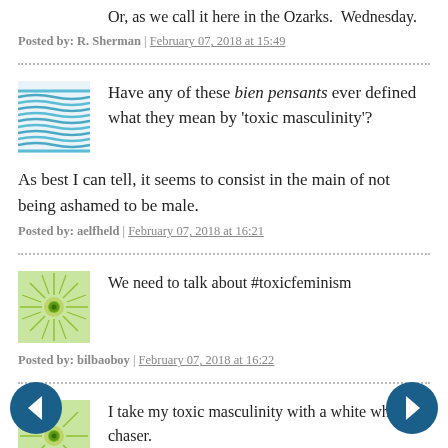Or, as we call it here in the Ozarks.  Wednesday.
Posted by: R. Sherman | February 07, 2018 at 15:49
Have any of these bien pensants ever defined what they mean by 'toxic masculinity'?
As best I can tell, it seems to consist in the main of not being ashamed to be male.
Posted by: aelfheld | February 07, 2018 at 16:21
We need to talk about #toxicfeminism
Posted by: bilbaoboy | February 07, 2018 at 16:22
I take my toxic masculinity with a white whine chaser.